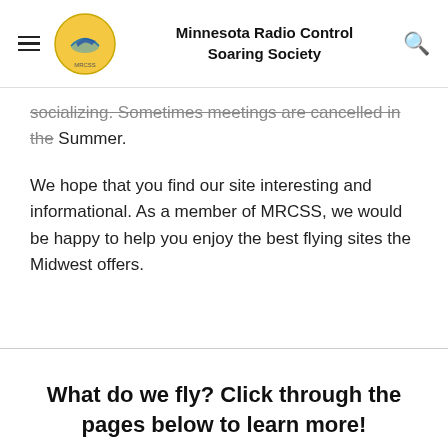Minnesota Radio Control Soaring Society
socializing. Sometimes meetings are cancelled in the Summer.
We hope that you find our site interesting and informational. As a member of MRCSS, we would be happy to help you enjoy the best flying sites the Midwest offers.
What do we fly? Click through the pages below to learn more!